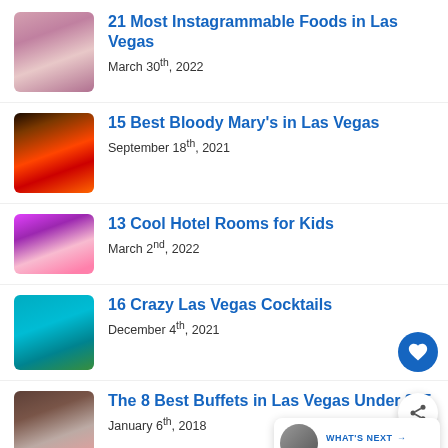21 Most Instagrammable Foods in Las Vegas
March 30th, 2022
15 Best Bloody Mary’s in Las Vegas
September 18th, 2021
13 Cool Hotel Rooms for Kids
March 2nd, 2022
16 Crazy Las Vegas Cocktails
December 4th, 2021
The 8 Best Buffets in Las Vegas Under $25
January 6th, 2018
Pineapple Upside Down Cake Martini